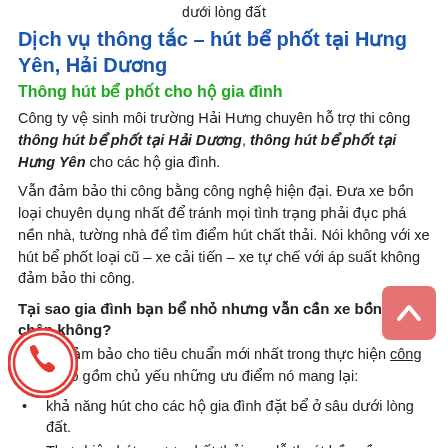dưới lòng đất
Dịch vụ thông tắc – hút bể phốt tại Hưng Yên, Hải Dương
Thông hút bể phốt cho hộ gia đình
Công ty vệ sinh môi trường Hải Hưng chuyên hỗ trợ thi công thông hút bể phốt tại Hải Dương, thông hút bể phốt tại Hưng Yên cho các hộ gia đình.
Vẫn đảm bảo thi công bằng công nghệ hiện đại. Đưa xe bồn loại chuyên dụng nhất để tránh mọi tình trạng phải đục phá nền nhà, tường nhà để tìm điểm hút chất thải. Nói không với xe hút bể phốt loại cũ – xe cải tiến – xe tự chế với áp suất không đảm bảo thi công.
Tại sao gia đình bạn bể nhỏ nhưng vẫn cần xe bồn hút chân không?
Bởi nó đảm bảo cho tiêu chuẩn mới nhất trong thực hiện công việc. Bao gồm chủ yếu những ưu điểm nó mang lại:
khả năng hút cho các hộ gia đình đặt bể ở sâu dưới lòng đất.
Thực hiện hút ngược chất thải qua lỗ thoát bồn cầu